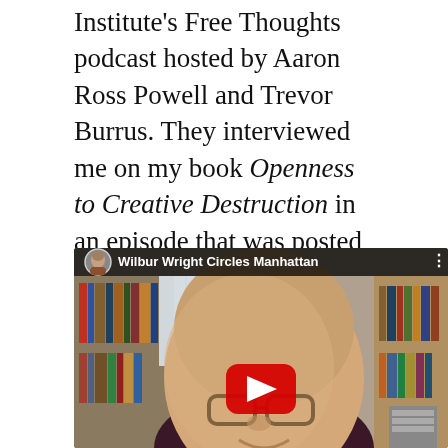Institute's Free Thoughts podcast hosted by Aaron Ross Powell and Trevor Burrus. They interviewed me on my book Openness to Creative Destruction in an episode that was posted on February 29, 2020.
[Figure (screenshot): YouTube video embed showing a man with glasses in front of a bookshelf. The video title reads 'Wilbur Wright Circles Manhattan'. A circular avatar thumbnail of a bald man is shown in the top left corner. A red YouTube play button is centered on the video.]